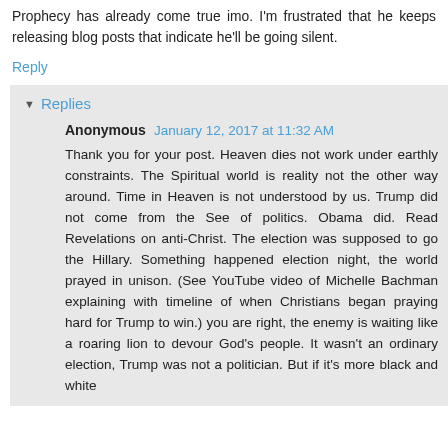Prophecy has already come true imo. I'm frustrated that he keeps releasing blog posts that indicate he'll be going silent.
Reply
Replies
Anonymous  January 12, 2017 at 11:32 AM
Thank you for your post. Heaven dies not work under earthly constraints. The Spiritual world is reality not the other way around. Time in Heaven is not understood by us. Trump did not come from the See of politics. Obama did. Read Revelations on anti-Christ. The election was supposed to go the Hillary. Something happened election night, the world prayed in unison. (See YouTube video of Michelle Bachman explaining with timeline of when Christians began praying hard for Trump to win.) you are right, the enemy is waiting like a roaring lion to devour God's people. It wasn't an ordinary election, Trump was not a politician. But if it's more black and white